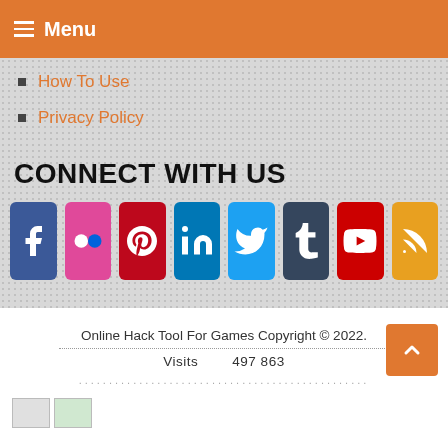Menu
How To Use
Privacy Policy
CONNECT WITH US
[Figure (infographic): Row of 8 social media icon buttons: Facebook, Flickr, Pinterest, LinkedIn, Twitter, Tumblr, YouTube, RSS]
Online Hack Tool For Games Copyright © 2022.
Visits 497 863